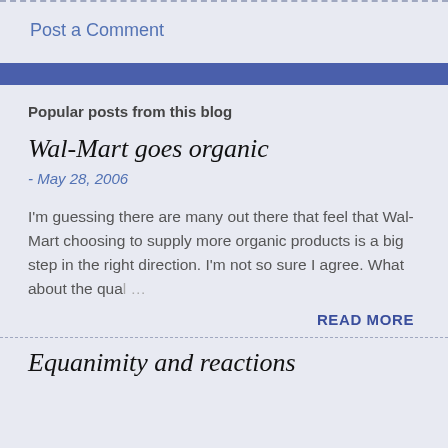Post a Comment
Popular posts from this blog
Wal-Mart goes organic
- May 28, 2006
I'm guessing there are many out there that feel that Wal-Mart choosing to supply more organic products is a big step in the right direction. I'm not so sure I agree. What about the qual…
READ MORE
Equanimity and reactions